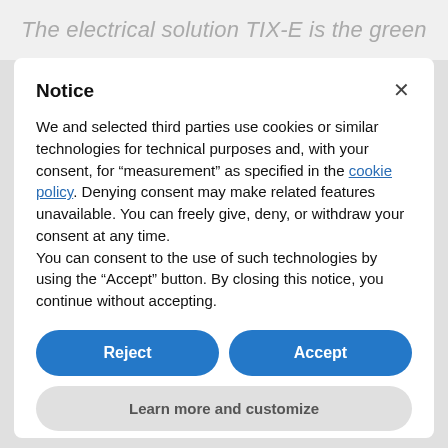The electrical solution TIX-E is the green
Notice
We and selected third parties use cookies or similar technologies for technical purposes and, with your consent, for “measurement” as specified in the cookie policy. Denying consent may make related features unavailable. You can freely give, deny, or withdraw your consent at any time.
You can consent to the use of such technologies by using the “Accept” button. By closing this notice, you continue without accepting.
Reject
Accept
Learn more and customize